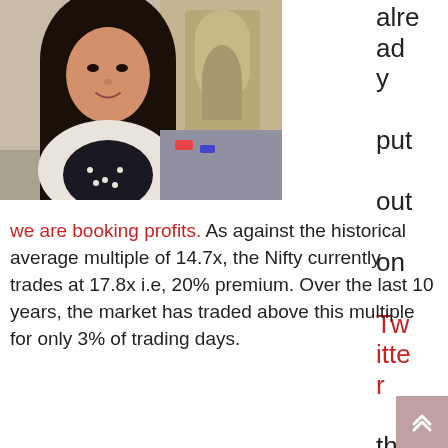[Figure (photo): Portrait photo of a young woman with long dark hair, smiling, standing outdoors near what appears to be India Gate monument in the background.]
already put out on Twitter that we are booking profits. As against the historical average multiple of 14.7x, the Nifty currently trades at 17.8x i.e, 20% premium. Over the last 10 years, the market has traded above this multiple for only 3% of trading days.